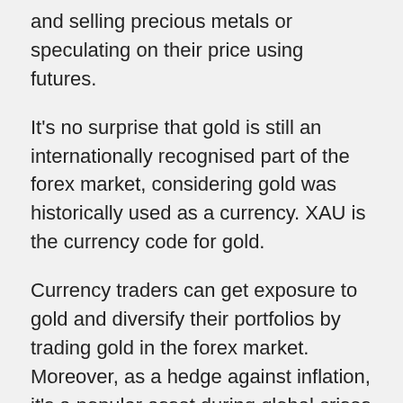and selling precious metals or speculating on their price using futures.
It's no surprise that gold is still an internationally recognised part of the forex market, considering gold was historically used as a currency. XAU is the currency code for gold.
Currency traders can get exposure to gold and diversify their portfolios by trading gold in the forex market. Moreover, as a hedge against inflation, it's a popular asset during global crises due to its stability.
When all investors get spooked and rush into the metal as a haven during market turmoil, the commodity attracts attention.